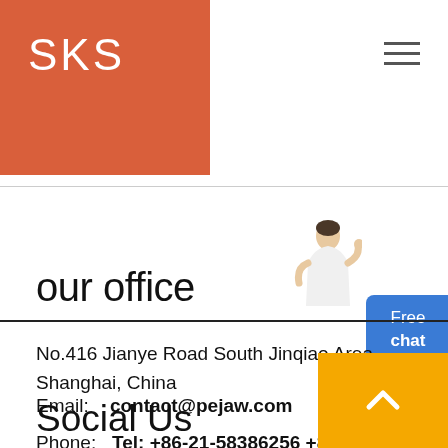[Figure (logo): SKS logo in white text on orange/red background square]
[Figure (illustration): Hamburger menu icon (three horizontal lines) in top right]
[Figure (illustration): Customer service person illustration in top right area]
[Figure (illustration): Free chat button, blue rounded rectangle with text Free chat]
our office
No.416 Jianye Road South Jinqiao Area Shanghai, China
Email:    contact@pejaw.com
Phone:    Tel: +86-21-58386256 +86-21-58386258
[Figure (illustration): Yellow square with white chevron/arrow pointing up (scroll to top button)]
Social Us